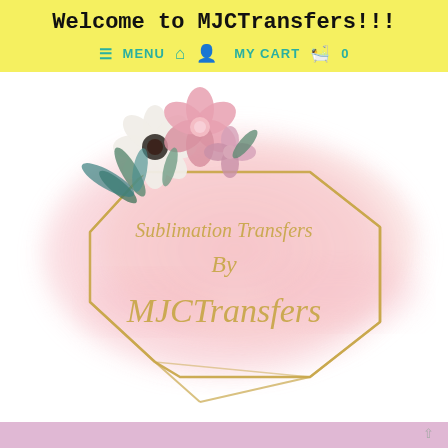Welcome to MJCTransfers!!!
≡ MENU  🏠  👤  MY CART  🛍  0
[Figure (logo): MJCTransfers logo: a pink watercolor blob background with a gold geometric polygon frame, floral arrangement (white and pink flowers with green leaves) in the upper left, and cursive gold text reading 'Sublimation Transfers By MJCTransfers']